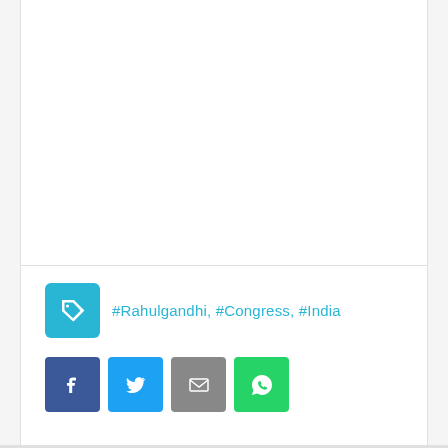#Rahulgandhi, #Congress, #India
[Figure (other): Social share buttons row: Facebook, Twitter, Email, WhatsApp icons]